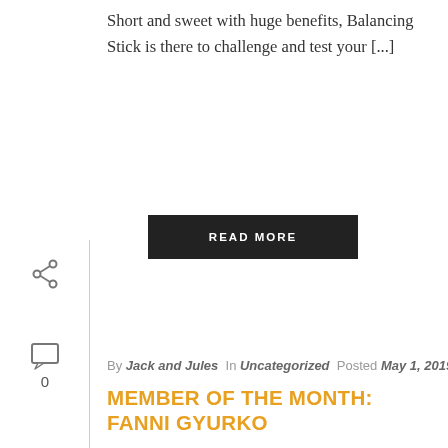Short and sweet with huge benefits, Balancing Stick is there to challenge and test your [...]
READ MORE
By Jack and Jules  In Uncategorized  Posted May 1, 2019
MEMBER OF THE MONTH: FANNI GYURKO
You recently came 2nd in the female runners in the Manchester Marathon – well done!! Finishing in the top 10 of your events is 'normal' for you as you are a competitive athlete. In [...]